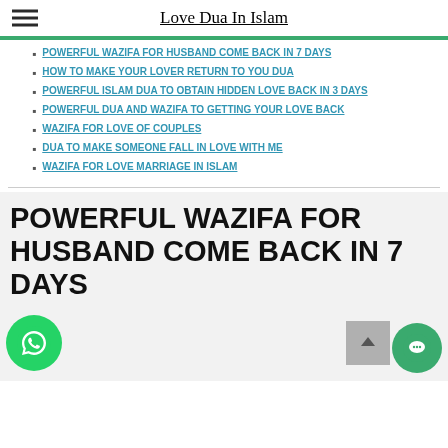Love Dua In Islam
POWERFUL WAZIFA FOR HUSBAND COME BACK IN 7 DAYS
HOW TO MAKE YOUR LOVER RETURN TO YOU DUA
POWERFUL ISLAM DUA TO OBTAIN HIDDEN LOVE BACK IN 3 DAYS
POWERFUL DUA AND WAZIFA TO GETTING YOUR LOVE BACK
WAZIFA FOR LOVE OF COUPLES
DUA TO MAKE SOMEONE FALL IN LOVE WITH ME
WAZIFA FOR LOVE MARRIAGE IN ISLAM
POWERFUL WAZIFA FOR HUSBAND COME BACK IN 7 DAYS